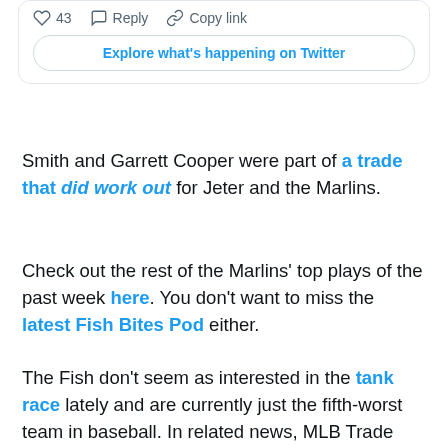[Figure (screenshot): Twitter/X card interface showing heart icon with count 43, Reply button, Copy link button, and an 'Explore what's happening on Twitter' button with rounded border]
Smith and Garrett Cooper were part of a trade that did work out for Jeter and the Marlins.
Check out the rest of the Marlins' top plays of the past week here. You don't want to miss the latest Fish Bites Pod either.
The Fish don't seem as interested in the tank race lately and are currently just the fifth-worst team in baseball. In related news, MLB Trade Rumors highlighted how Starlin Castro has basically made himself untradeable with his poor play.